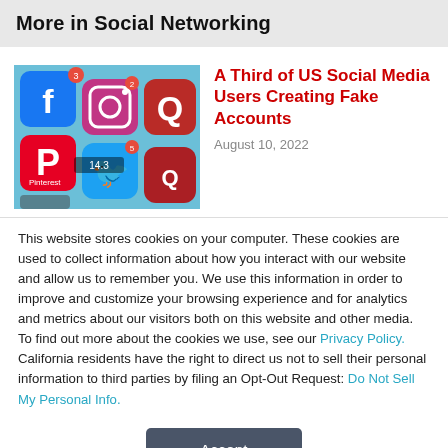More in Social Networking
[Figure (photo): Smartphone screen showing social media app icons including Facebook, Instagram, Pinterest, Twitter, and Quora]
A Third of US Social Media Users Creating Fake Accounts
August 10, 2022
This website stores cookies on your computer. These cookies are used to collect information about how you interact with our website and allow us to remember you. We use this information in order to improve and customize your browsing experience and for analytics and metrics about our visitors both on this website and other media. To find out more about the cookies we use, see our Privacy Policy. California residents have the right to direct us not to sell their personal information to third parties by filing an Opt-Out Request: Do Not Sell My Personal Info.
Accept